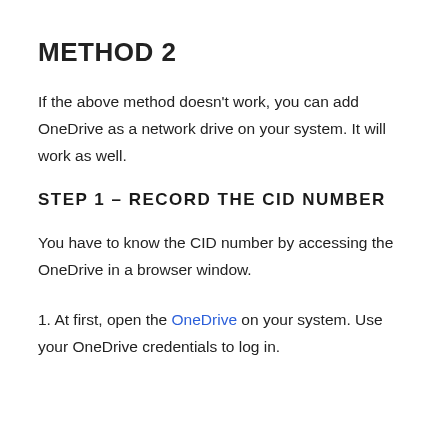METHOD 2
If the above method doesn’t work, you can add OneDrive as a network drive on your system. It will work as well.
STEP 1 – RECORD THE CID NUMBER
You have to know the CID number by accessing the OneDrive in a browser window.
1. At first, open the OneDrive on your system. Use your OneDrive credentials to log in.